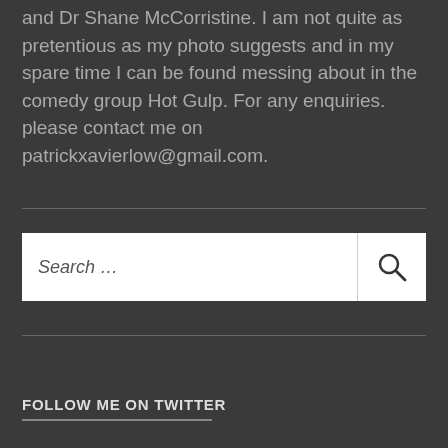and Dr Shane McCorristine. I am not quite as pretentious as my photo suggests and in my spare time I can be found messing about in the comedy group Hot Gulp. For any enquiries. please contact me on patrickxavierlow@gmail.com.
[Figure (other): Search bar with text input field labeled 'Search ...' and a magnifying glass icon button on the right]
FOLLOW ME ON TWITTER